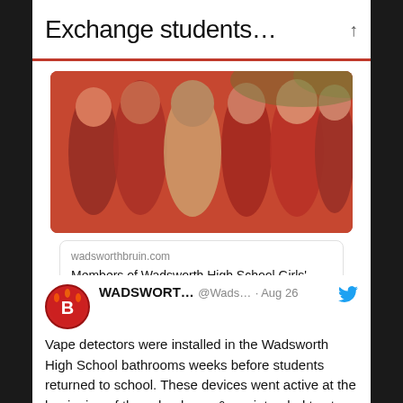Exchange students…
[Figure (photo): Group photo of Wadsworth High School Girls' Tennis Team members wearing red shirts, smiling outdoors]
wadsworthbruin.com
Members of Wadsworth High School Girls' Tennis Team see Mr. Worldwide…
WADSWORT… @Wads… · Aug 26
Vape detectors were installed in the Wadsworth High School bathrooms weeks before students returned to school. These devices went active at the beginning of the school year & are intended to stop students from vandalization & smoking within the